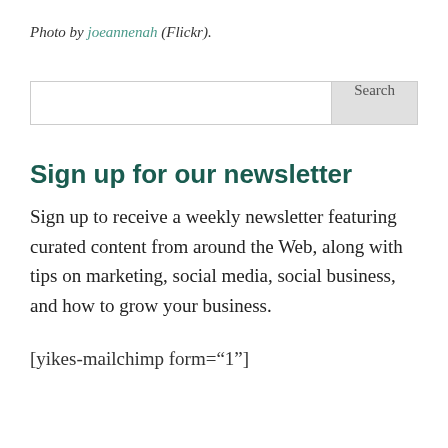Photo by joeannenah (Flickr).
Search
Sign up for our newsletter
Sign up to receive a weekly newsletter featuring curated content from around the Web, along with tips on marketing, social media, social business, and how to grow your business.
[yikes-mailchimp form="1"]